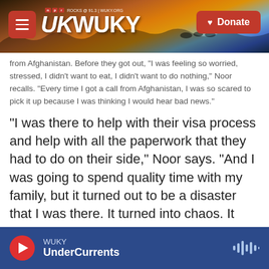WUKY NPR ROCKS @ 91.3 | WUKY.ORG — Donate
from Afghanistan. Before they got out, "I was feeling so worried, stressed, I didn't want to eat, I didn't want to do nothing," Noor recalls. "Every time I got a call from Afghanistan, I was so scared to pick it up because I was thinking I would hear bad news."
"I was there to help with their visa process and help with all the paperwork that they had to do on their side," Noor says. "And I was going to spend quality time with my family, but it turned out to be a disaster that I was there. It turned into chaos. It turned into a memory that I will never forget for a lifetime."
Noor says a bomb affixed to a motorcycle
WUKY — UnderCurrents